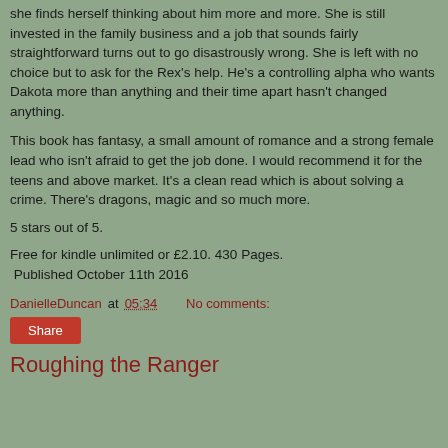she finds herself thinking about him more and more. She is still invested in the family business and a job that sounds fairly straightforward turns out to go disastrously wrong. She is left with no choice but to ask for the Rex's help. He's a controlling alpha who wants Dakota more than anything and their time apart hasn't changed anything.
This book has fantasy, a small amount of romance and a strong female lead who isn't afraid to get the job done. I would recommend it for the teens and above market. It's a clean read which is about solving a crime. There's dragons, magic and so much more.
5 stars out of 5.
Free for kindle unlimited or £2.10. 430 Pages. Published October 11th 2016
DanielleDuncan at 05:34    No comments:
Share
Roughing the Ranger